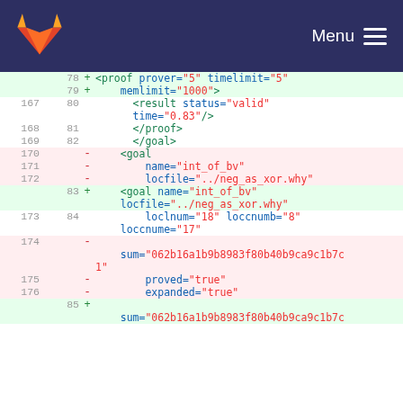GitLab logo | Menu
[Figure (screenshot): Code diff view showing XML changes in a proof file with line numbers, added lines (green), removed lines (red), and context lines.]